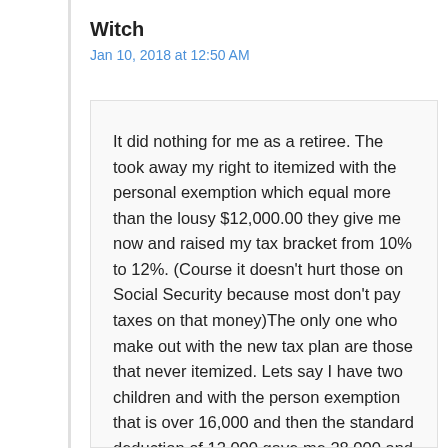Witch
Jan 10, 2018 at 12:50 AM
It did nothing for me as a retiree. The took away my right to itemized with the personal exemption which equal more than the lousy $12,000.00 they give me now and raised my tax bracket from 10% to 12%. (Course it doesn't hurt those on Social Security because most don't pay taxes on that money)The only one who make out with the new tax plan are those that never itemized. Lets say I have two children and with the person exemption that is over 16,000 and then the standard deduction of 12,000 gave me 28,000 and that's if I barely had enough to itemized. Most families have a lot more than that. Get real this tax plan